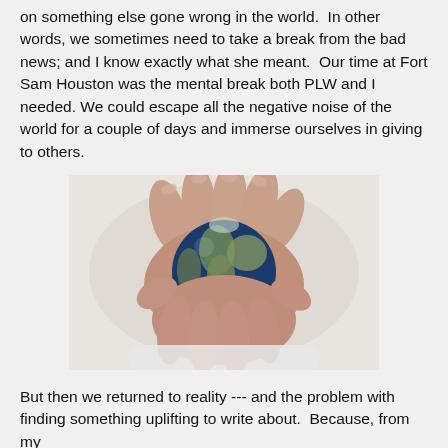on something else gone wrong in the world.  In other words, we sometimes need to take a break from the bad news; and I know exactly what she meant.  Our time at Fort Sam Houston was the mental break both PLW and I needed. We could escape all the negative noise of the world for a couple of days and immerse ourselves in giving to others.
[Figure (photo): Two hands cupping and holding a small globe showing Earth, with a white background]
But then we returned to reality --- and the problem with finding something uplifting to write about.  Because, from my